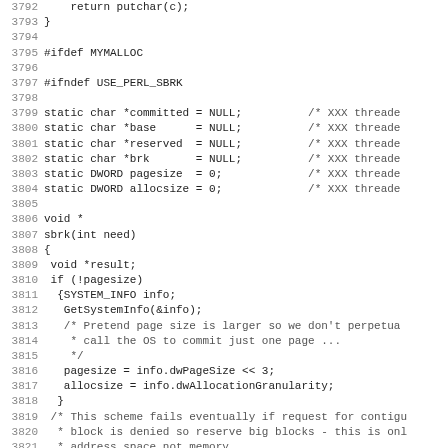Source code listing, lines 3792-3824, C/C++ code
[Figure (screenshot): C source code snippet showing memory allocation functions with line numbers 3792-3824]